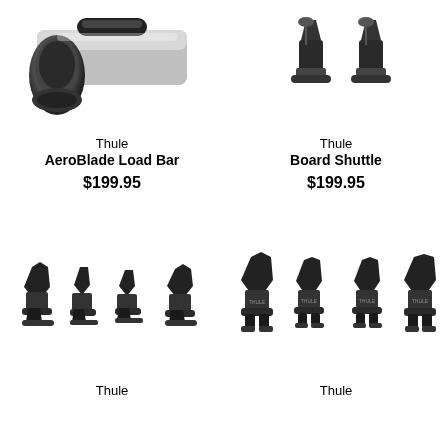[Figure (photo): Thule AeroBlade Load Bar product image, close-up of the aerodynamic end cap]
Thule
AeroBlade Load Bar
$199.95
[Figure (photo): Thule Board Shuttle product image, showing mounting hardware]
Thule
Board Shuttle
$199.95
[Figure (photo): Thule kayak carrier product image showing four saddle/cradle mounts in black]
Thule
[Figure (photo): Thule kayak carrier product image showing four adjustable saddle mounts in black with feet]
Thule